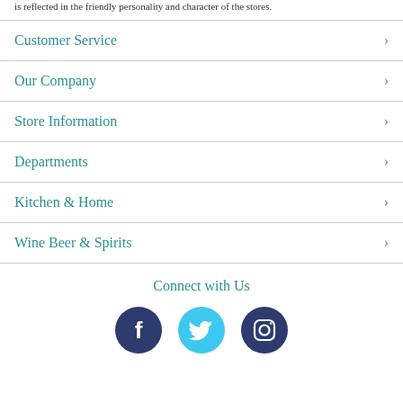is reflected in the friendly personality and character of the stores.
Customer Service
Our Company
Store Information
Departments
Kitchen & Home
Wine Beer & Spirits
Connect with Us
[Figure (illustration): Three social media icons: Facebook (dark navy circle with f), Twitter (light blue circle with bird), Instagram (dark navy circle with camera)]